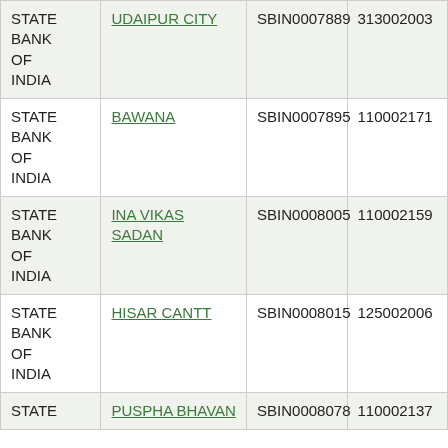| Bank Name | Branch | IFSC | MICR |
| --- | --- | --- | --- |
| STATE BANK OF INDIA | UDAIPUR CITY | SBIN0007889 | 313002003 |
| STATE BANK OF INDIA | BAWANA | SBIN0007895 | 110002171 |
| STATE BANK OF INDIA | INA VIKAS SADAN | SBIN0008005 | 110002159 |
| STATE BANK OF INDIA | HISAR CANTT | SBIN0008015 | 125002006 |
| STATE BANK OF INDIA | PUSPHA BHAVAN | SBIN0008078 | 110002137 |